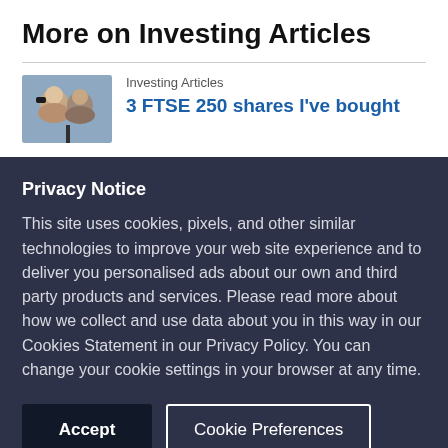More on Investing Articles
Investing Articles
3 FTSE 250 shares I've bought
Privacy Notice
This site uses cookies, pixels, and other similar technologies to improve your web site experience and to deliver you personalised ads about our own and third party products and services. Please read more about how we collect and use data about you in this way in our Cookies Statement in our Privacy Policy. You can change your cookie settings in your browser at any time.
Accept
Cookie Preferences